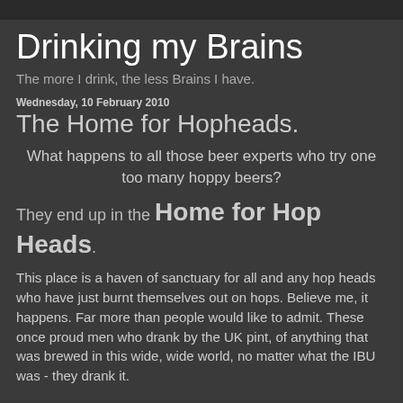Drinking my Brains
The more I drink, the less Brains I have.
Wednesday, 10 February 2010
The Home for Hopheads.
What happens to all those beer experts who try one too many hoppy beers?
They end up in the Home for Hop Heads.
This place is a haven of sanctuary for all and any hop heads who have just burnt themselves out on hops. Believe me, it happens. Far more than people would like to admit. These once proud men who drank by the UK pint, of anything that was brewed in this wide, wide world, no matter what the IBU was - they drank it.